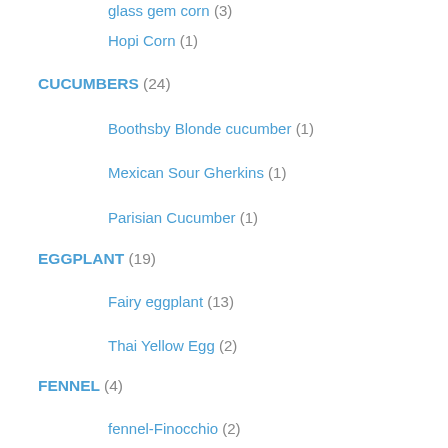glass gem corn (3)
Hopi Corn (1)
CUCUMBERS (24)
Boothsby Blonde cucumber (1)
Mexican Sour Gherkins (1)
Parisian Cucumber (1)
EGGPLANT (19)
Fairy eggplant (13)
Thai Yellow Egg (2)
FENNEL (4)
fennel-Finocchio (2)
GARLIC (13)
GOURDS (9)
LEEKS (1)
LETTUCE/GREENS (56)
arugula (13)
Batavian lettuce (1)
chard (12)
KALE (4)
mesclun (10)